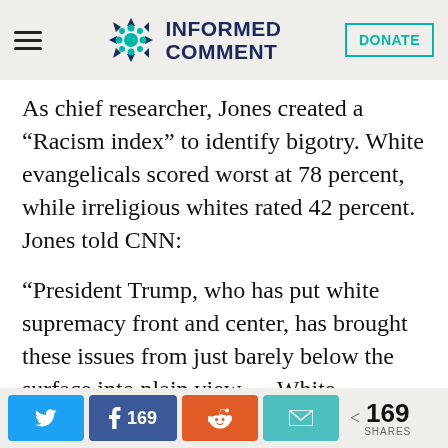Informed Comment — navigation header with logo and donate button
As chief researcher, Jones created a “Racism index” to identify bigotry. White evangelicals scored worst at 78 percent, while irreligious whites rated 42 percent. Jones told CNN:
“President Trump, who has put white supremacy front and center, has brought these issues from just barely below the surface into plain view…. White Christians have inherited a worldview that has Christians on top of other religions, men
Social share buttons: Twitter, Facebook 169, Reddit, Email | 169 SHARES